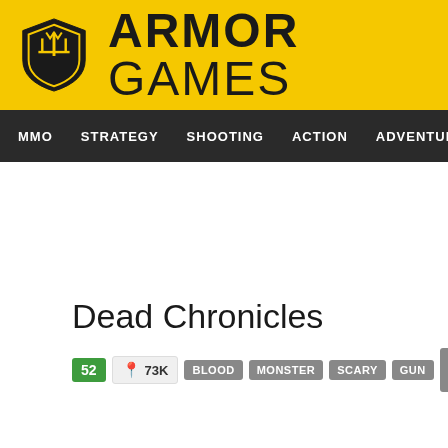[Figure (logo): Armor Games logo with yellow background, shield icon and bold text 'ARMOR GAMES']
MMO   STRATEGY   SHOOTING   ACTION   ADVENTURE   P
Dead Chronicles
52  📍 73K   BLOOD   MONSTER   SCARY   GUN   GAMES OF 2018